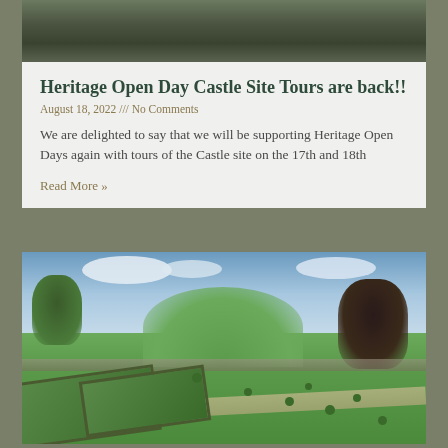[Figure (photo): Close-up photo at top, partially visible, dark tones suggesting stone or foliage]
Heritage Open Day Castle Site Tours are back!!
August 18, 2022 /// No Comments
We are delighted to say that we will be supporting Heritage Open Days again with tours of the Castle site on the 17th and 18th
Read More »
[Figure (photo): Landscape photo of a castle grounds showing a large grassy mound, stone walls, a dark tree on the right, green trees on the left, a formal knot garden in the foreground with hedged rectangular beds and topiary balls, blue sky with clouds above]